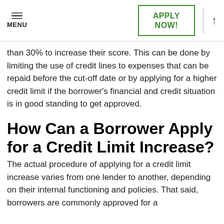MENU | APPLY NOW!
than 30% to increase their score. This can be done by limiting the use of credit lines to expenses that can be repaid before the cut-off date or by applying for a higher credit limit if the borrower’s financial and credit situation is in good standing to get approved.
How Can a Borrower Apply for a Credit Limit Increase?
The actual procedure of applying for a credit limit increase varies from one lender to another, depending on their internal functioning and policies. That said, borrowers are commonly approved for a